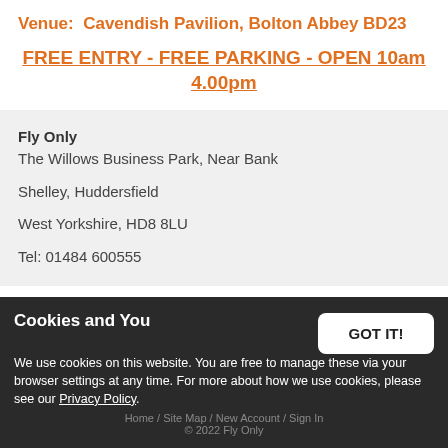Venue:  Cavendish Pavilion, Bolton Abbey BD23
FREE ENTRY - FREE PARKING - OPEN 10am 4.00pm
Fly Only
The Willows Business Park, Near Bank
Shelley, Huddersfield
West Yorkshire, HD8 8LU
Tel: 01484 600555
Cookies and You
We use cookies on this website. You are free to manage these via your browser settings at any time. For more about how we use cookies, please see our Privacy Policy.
© 2022 Fly Only